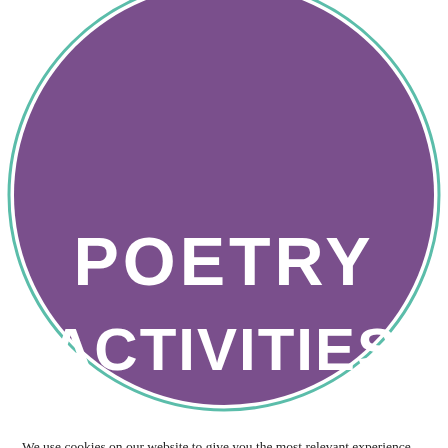[Figure (illustration): Large purple circle with teal border outline showing text 'POETRY ACTIVITIES' in white bold uppercase letters. The circle is partially cropped at the top and bottom edges.]
We use cookies on our website to give you the most relevant experience by remembering your preferences and repeat visits. By clicking "Accept All", you consent to the use of ALL the cookies. However, you may visit "Cookie Settings" to provide a controlled consent.
Cookie Settings
Accept All